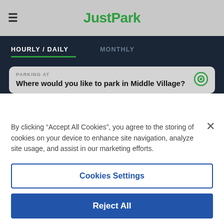[Figure (screenshot): JustPark app header with hamburger menu icon on the left and JustPark logo in green in the center]
JustPark
HOURLY / DAILY
MONTHLY
PARKING AT
Where would you like to park in Middle Village?
By clicking “Accept All Cookies”, you agree to the storing of cookies on your device to enhance site navigation, analyze site usage, and assist in our marketing efforts.
Cookies Settings
Reject All